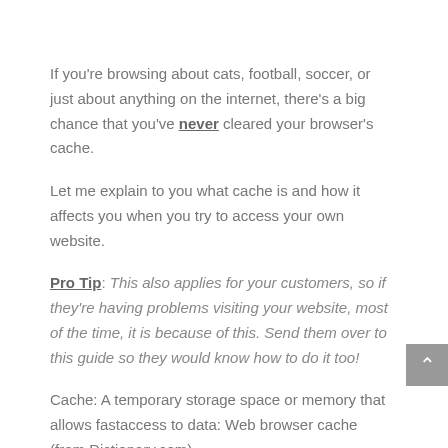If you're browsing about cats, football, soccer, or just about anything on the internet, there's a big chance that you've never cleared your browser's cache.
Let me explain to you what cache is and how it affects you when you try to access your own website.
Pro Tip: This also applies for your customers, so if they're having problems visiting your website, most of the time, it is because of this. Send them over to this guide so they would know how to do it too!
Cache: A temporary storage space or memory that allows fastaccess to data: Web browser cache (from Dictionary.com)